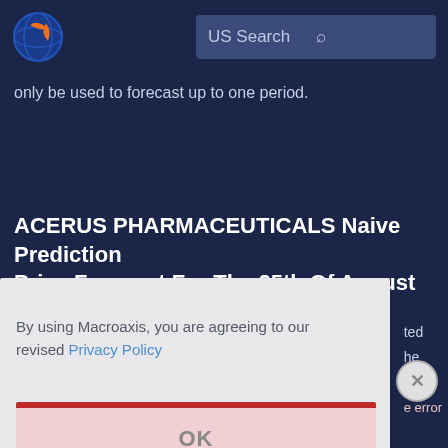[Figure (logo): Macroaxis globe logo with orange and blue design]
US Search
only be used to forecast up to one period.
ACERUS PHARMACEUTICALS Naive Prediction Price Forecast For The 25th Of August
By using Macroaxis, you are agreeing to our revised Privacy Policy
OK
Please note that although there have been many aforemention...